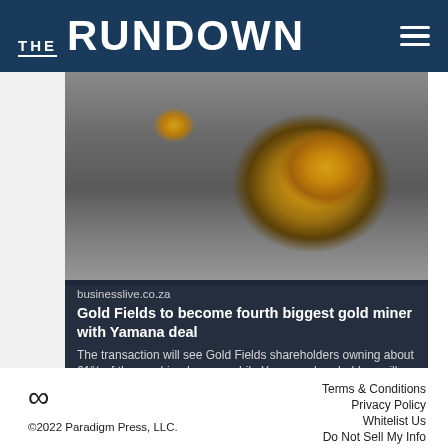THE RUNDOWN
[Figure (photo): Close-up photograph of gold nuggets on a rocky dark surface. A large gold nugget is in the center-right and a smaller one in the upper-left. The background is dark gray stone.]
businesslive.co.za
Gold Fields to become fourth biggest gold miner with Yamana deal
The transaction will see Gold Fields shareholders owning about 61% of the combined group, while Yamana shareholders will own around 39%
©2022 Paradigm Press, LLC.
Terms & Conditions
Privacy Policy
Whitelist Us
Do Not Sell My Info